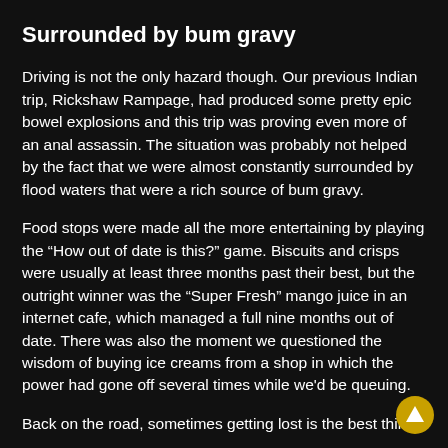Surrounded by bum gravy
Driving is not the only hazard though. Our previous Indian trip, Rickshaw Rampage, had produced some pretty epic bowel explosions and this trip was proving even more of an anal assassin. The situation was probably not helped by the fact that we were almost constantly surrounded by flood waters that were a rich source of bum gravy.
Food stops were made all the more entertaining by playing the “How out of date is this?” game. Biscuits and crisps were usually at least three months past their best, but the outright winner was the “Super Fresh” mango juice in an internet cafe, which managed a full nine months out of date. There was also the moment we questioned the wisdom of buying ice creams from a shop in which the power had gone off several times while we'd be queuing.
Back on the road, sometimes getting lost is the best thing